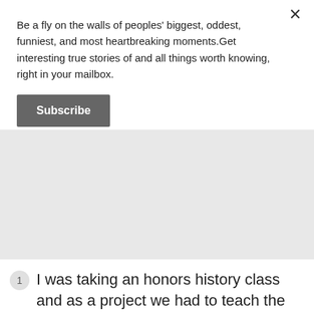Be a fly on the walls of peoples' biggest, oddest, funniest, and most heartbreaking moments.Get interesting true stories of and all things worth knowing, right in your mailbox.
Subscribe
[Figure (other): Gray advertisement or image placeholder area]
1  I was taking an honors history class and as a project we had to teach the class for 10 mins on